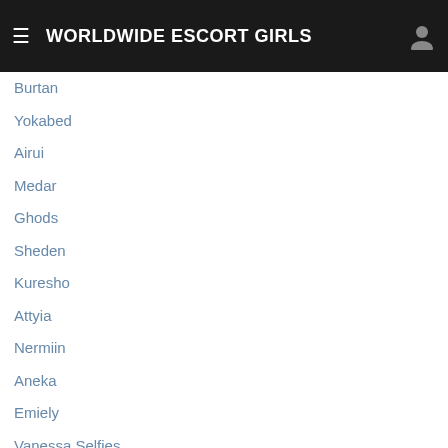WORLDWIDE ESCORT GIRLS
Burtan
Yokabed
Airui
Medar
Ghods
Sheden
Kuresho
Attyia
Nermiin
Aneka
Emiely
Vanessa Selfies
Tarang
Cajsa Tora
Papharat
Alucinor
Miljan
Oceane33000
Sainbayar
Ciccan
Jamili
Maareb